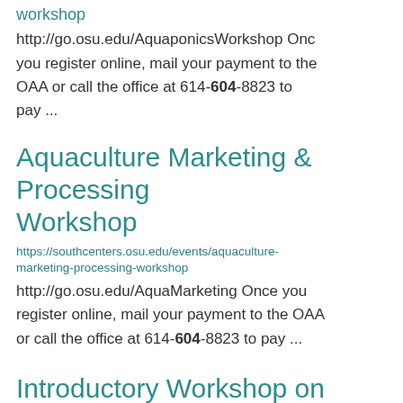workshop
http://go.osu.edu/AquaponicsWorkshop Once you register online, mail your payment to the OAA or call the office at 614-604-8823 to pay ...
Aquaculture Marketing & Processing Workshop
https://southcenters.osu.edu/events/aquaculture-marketing-processing-workshop
http://go.osu.edu/AquaMarketing Once you register online, mail your payment to the OAA or call the office at 614-604-8823 to pay ...
Introductory Workshop on